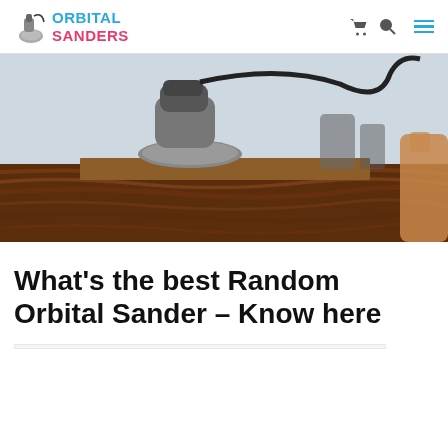ORBITAL SANDERS
[Figure (photo): Close-up photo of a random orbital sander being used on a dark wood surface, with power tools in the background and a person's hand visible on the right.]
What’s the best Random Orbital Sander – Know here